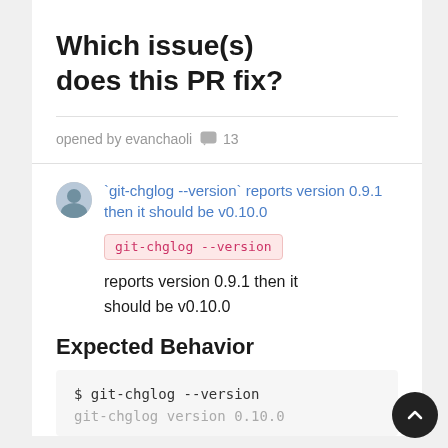Which issue(s) does this PR fix?
opened by evanchaoli 💬 13
`git-chglog --version` reports version 0.9.1 then it should be v0.10.0
git-chglog --version
reports version 0.9.1 then it should be v0.10.0
Expected Behavior
$ git-chglog --version